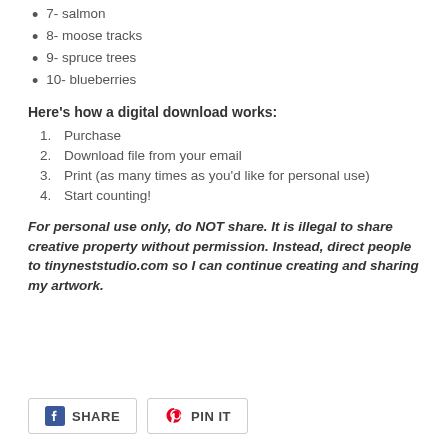7- salmon
8- moose tracks
9- spruce trees
10- blueberries
Here's how a digital download works:
1. Purchase
2. Download file from your email
3. Print (as many times as you'd like for personal use)
4. Start counting!
For personal use only, do NOT share. It is illegal to share creative property without permission. Instead, direct people to tinyneststudio.com so I can continue creating and sharing my artwork.